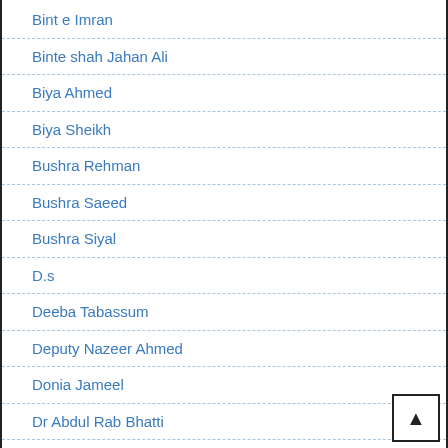Bint e Imran
Binte shah Jahan Ali
Biya Ahmed
Biya Sheikh
Bushra Rehman
Bushra Saeed
Bushra Siyal
D.s
Deeba Tabassum
Deputy Nazeer Ahmed
Donia Jameel
Dr Abdul Rab Bhatti
Dr Zakia Bilgrami